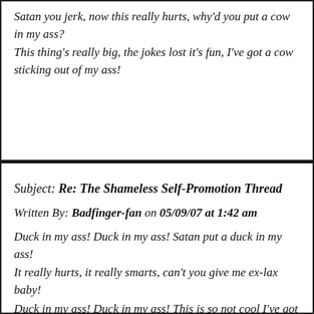Satan you jerk, now this really hurts, why'd you put a cow in my ass?
This thing's really big, the jokes lost it's fun, I've got a cow sticking out of my ass!
Subject: Re: The Shameless Self-Promotion Thread
Written By: Badfinger-fan on 05/09/07 at 1:42 am
Duck in my ass! Duck in my ass! Satan put a duck in my ass!
It really hurts, it really smarts, can't you give me ex-lax baby!
Duck in my ass! Duck in my ass! This is so not cool I've got a duck in my ass!
I'm laying eggs, they're not mine, second hand eggs